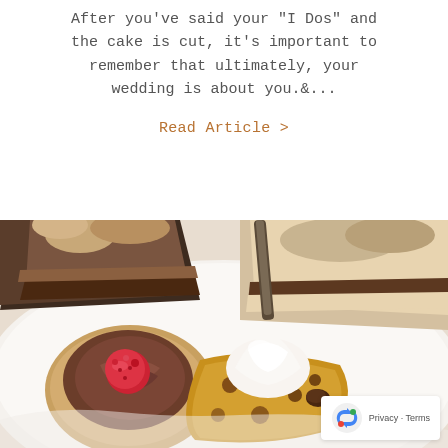After you've said your "I Dos" and the cake is cut, it's important to remember that ultimately, your wedding is about you. &...
Read Article >
[Figure (photo): Close-up overhead photo of desserts on a white plate: a chocolate mousse tart with a raspberry on top (left), a cookie/brownie base with whipped cream and a chocolate chip (center), and pieces of layered cake with chocolate filling and crumbly topping (top right). A cake server/spatula handle is visible in the center.]